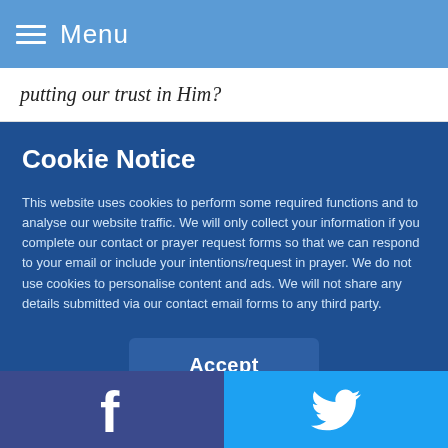Menu
putting our trust in Him?
Cookie Notice
This website uses cookies to perform some required functions and to analyse our website traffic. We will only collect your information if you complete our contact or prayer request forms so that we can respond to your email or include your intentions/request in prayer. We do not use cookies to personalise content and ads. We will not share any details submitted via our contact email forms to any third party.
[Figure (other): Accept button for cookie notice]
[Figure (other): Footer with Facebook and Twitter social icons]